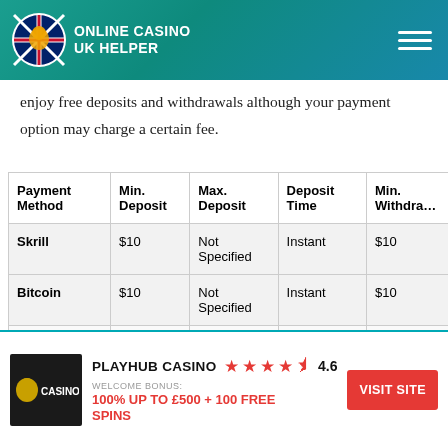Online Casino UK Helper
enjoy free deposits and withdrawals although your payment option may charge a certain fee.
| Payment Method | Min. Deposit | Max. Deposit | Deposit Time | Min. Withdraw |
| --- | --- | --- | --- | --- |
| Skrill | $10 | Not Specified | Instant | $10 |
| Bitcoin | $10 | Not Specified | Instant | $10 |
[Figure (logo): Playhub Casino logo - black background with casino text]
PLAYHUB CASINO ★★★★½ 4.6 WELCOME BONUS: 100% UP TO £500 + 100 FREE SPINS VISIT SITE